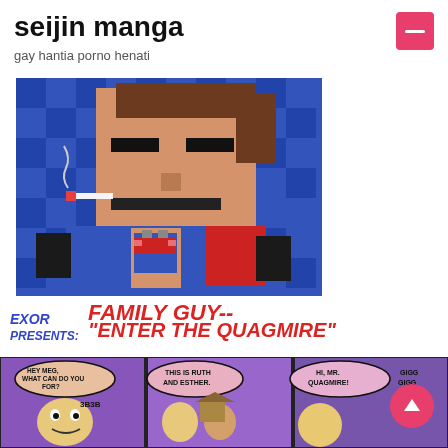seijin manga
gay hantia porno henati
[Figure (illustration): Pixel art illustration showing a large blocky character with brown hair smoking a cigarette in a blue pixelated environment, with a smaller pixel character below]
[Figure (illustration): Comic strip header reading 'EXOR PRESENTS: FAMILY GUY--"ENTER THE QUAGMIRE"' in bold comic lettering, with cartoon panels below showing characters including scenes with speech bubbles: 'HEY MEG, WHAT CAN DO YOU FOR?', '3B3B', 'THIS IS RUTH AND ESTHER.', 'HI, MR. QUAGMIRE!', 'GIGG GIGG']